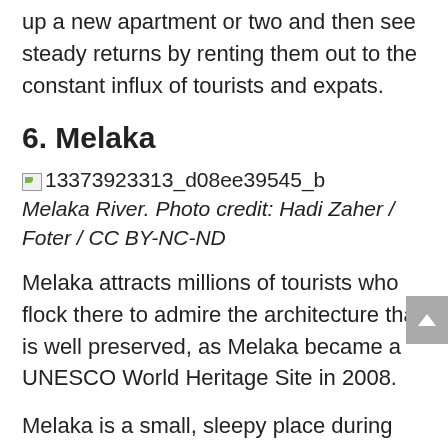up a new apartment or two and then see steady returns by renting them out to the constant influx of tourists and expats.
6. Melaka
[Figure (photo): Broken image placeholder for 13373923313_d08ee39545_b]
Melaka River. Photo credit: Hadi Zaher / Foter / CC BY-NC-ND
Melaka attracts millions of tourists who flock there to admire the architecture that is well preserved, as Melaka became a UNESCO World Heritage Site in 2008.
Melaka is a small, sleepy place during the week, but can turn more frenzied as the visitors descend at the weekends. That